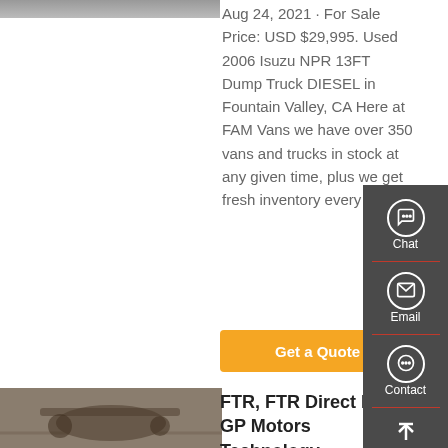[Figure (photo): Partial view of a vehicle, cropped at top of page]
Aug 24, 2021 · For Sale Price: USD $29,995. Used 2006 Isuzu NPR 13FT Dump Truck DIESEL in Fountain Valley, CA Here at FAM Vans we have over 350 vans and trucks in stock at any given time, plus we get fresh inventory every month.
[Figure (other): Orange 'Get a Quote' button]
[Figure (photo): Undercarriage view of a vehicle]
FTR, FTR Direct From GP Motors Technology (Chongqing) Co
[Figure (infographic): Dark side panel with Chat, Email, Contact, and Top navigation buttons]